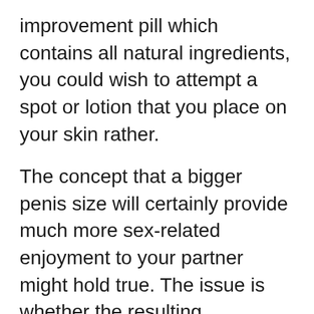improvement pill which contains all natural ingredients, you could wish to attempt a spot or lotion that you place on your skin rather.
The concept that a bigger penis size will certainly provide much more sex-related enjoyment to your partner might hold true. The issue is whether the resulting satisfaction is of high quality or not. Although some partners will like larger penises, having a penis that is also big can create pain and also may not provide much satisfaction in bed. Here is what you should understand concerning the average male penis dimension as well as why much size issues. You will uncover the appropriate response to whether a longer penis can please your friend...